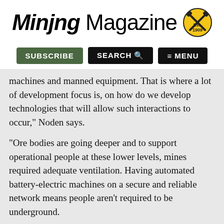Mining Magazine
[Figure (logo): Mining Magazine logo with crossed hammers badge, Established 1909]
machines and manned equipment. That is where a lot of development focus is, on how do we develop technologies that will allow such interactions to occur," Noden says.
"Ore bodies are going deeper and to support operational people at these lower levels, mines required adequate ventilation. Having automated battery-electric machines on a secure and reliable network means people aren't required to be underground.
"This reduces ventilation and energy costs and enables them to continue to go deeper. Traditionally the cost benefit would not be there, but now with the new technologies coming through and automation being part of